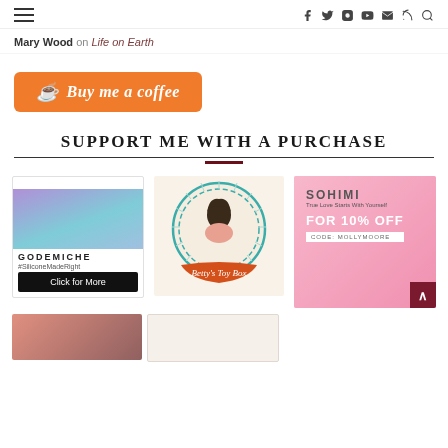Navigation bar with hamburger menu and social icons
Mary Wood on Life on Earth
[Figure (other): Orange 'Buy me a coffee' button with coffee cup icon]
SUPPORT ME WITH A PURCHASE
[Figure (other): Godemiche ad showing purple/teal products with Click for More button]
[Figure (other): Betty's Toy Box circular logo with retro pin-up illustration]
[Figure (other): Sohimi ad on pink background offering 10% off with code MOLLYMOORE]
[Figure (other): Two partial ads at bottom of page]